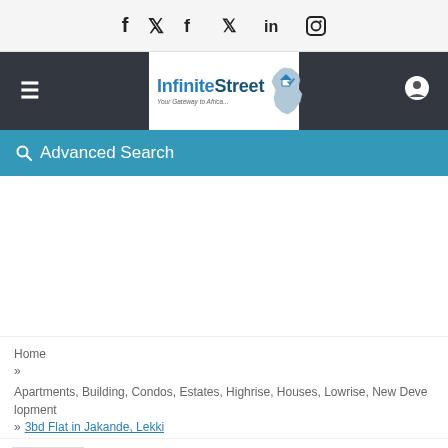Social icons: Facebook, Twitter, LinkedIn, Instagram
[Figure (logo): InfiniteStreet logo with Africa map silhouette and tagline 'Your Gateway to Africa']
Advanced Search
Home
> Apartments, Building, Condos, Estates, Highrise, Houses, Lowrise, New Development
> 3bd Flat in Jakande, Lekki
[Figure (logo): Estate Nexus logo icon]
Estate Nexus